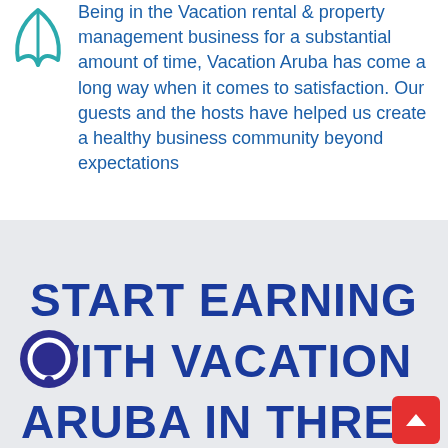[Figure (logo): Teal/blue leaf or abstract icon in top left corner]
Being in the Vacation rental & property management business for a substantial amount of time, Vacation Aruba has come a long way when it comes to satisfaction. Our guests and the hosts have helped us create a healthy business community beyond expectations
START EARNING WITH VACATION ARUBA IN THREE